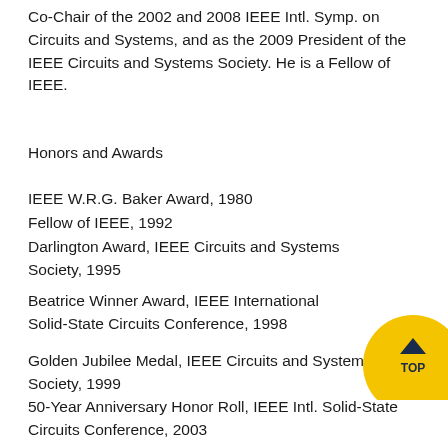Co-Chair of the 2002 and 2008 IEEE Intl. Symp. on Circuits and Systems, and as the 2009 President of the IEEE Circuits and Systems Society. He is a Fellow of IEEE.
Honors and Awards
IEEE W.R.G. Baker Award, 1980
Fellow of IEEE, 1992
Darlington Award, IEEE Circuits and Systems Society, 1995
Beatrice Winner Award, IEEE International Solid-State Circuits Conference, 1998
Golden Jubilee Medal, IEEE Circuits and Systems Society, 1999
50-Year Anniversary Honor Roll, IEEE Intl. Solid-State Circuits Conference, 2003
Technical Achievement Award, IEEE Circuits and Systems Society, 2004
Aristotle Award, Semiconductor Research Corp., 2005